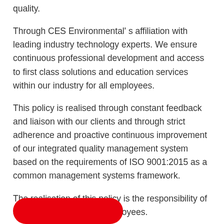quality.
Through CES Environmental' s affiliation with leading industry technology experts. We ensure continuous professional development and access to first class solutions and education services within our industry for all employees.
This policy is realised through constant feedback and liaison with our clients and through strict adherence and proactive continuous improvement of our integrated quality management system based on the requirements of ISO 9001:2015 as a common management systems framework.
The realisation of this policy is the responsibility of all CES Environmental employees.
[Figure (other): Red rounded rectangle button element at bottom of page]